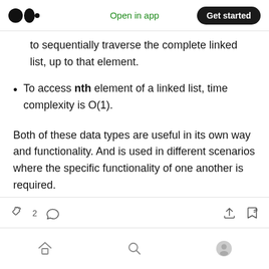Medium logo | Open in app | Get started
to sequentially traverse the complete linked list, up to that element.
To access nth element of a linked list, time complexity is O(1).
Both of these data types are useful in its own way and functionality. And is used in different scenarios where the specific functionality of one another is required.
Clap 2 | Comment | Share | Bookmark | Home | Search | Profile